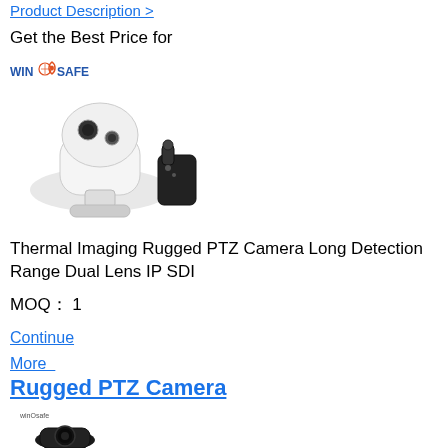Product Description >
Get the Best Price for
[Figure (logo): WINSAFE brand logo with text and shield icon]
[Figure (photo): White PTZ thermal imaging camera with dual lens and a handheld joystick controller]
Thermal Imaging Rugged PTZ Camera Long Detection Range Dual Lens IP SDI
MOQ： 1
Continue
More
Rugged PTZ Camera
[Figure (photo): Black PTZ rugged camera with WINSAFE logo on a white background, partial view]